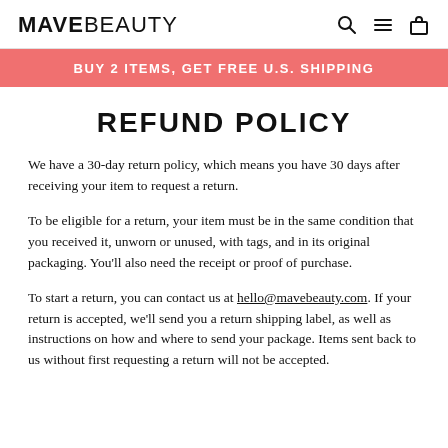MAVEBEAUTY
BUY 2 ITEMS, GET FREE U.S. SHIPPING
REFUND POLICY
We have a 30-day return policy, which means you have 30 days after receiving your item to request a return.
To be eligible for a return, your item must be in the same condition that you received it, unworn or unused, with tags, and in its original packaging. You'll also need the receipt or proof of purchase.
To start a return, you can contact us at hello@mavebeauty.com. If your return is accepted, we'll send you a return shipping label, as well as instructions on how and where to send your package. Items sent back to us without first requesting a return will not be accepted.